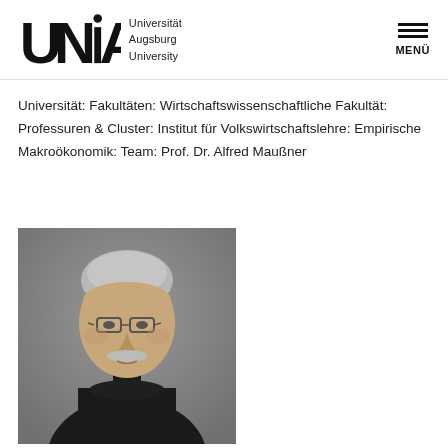Universität Augsburg University
Universität: Fakultäten: Wirtschaftswissenschaftliche Fakultät: Professuren & Cluster: Institut für Volkswirtschaftslehre: Empirische Makroökonomik: Team: Prof. Dr. Alfred Maußner
[Figure (photo): Portrait photo of Prof. Dr. Alfred Maußner, an older man with grey hair, glasses, grey mustache, wearing a dark turtleneck sweater, against a grey background.]